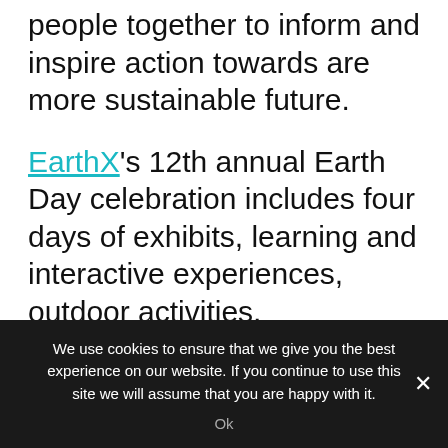people together to inform and inspire action towards are more sustainable future.
EarthX's 12th annual Earth Day celebration includes four days of exhibits, learning and interactive experiences, outdoor activities, conferences, entertainment, music and food that provides achievable solutions for a more sustainable globe. Earthx2022 brings together environmental citizens, educators, youth advocates, business executives, non-government organizations and thought leaders to take action towards a more
We use cookies to ensure that we give you the best experience on our website. If you continue to use this site we will assume that you are happy with it. Ok